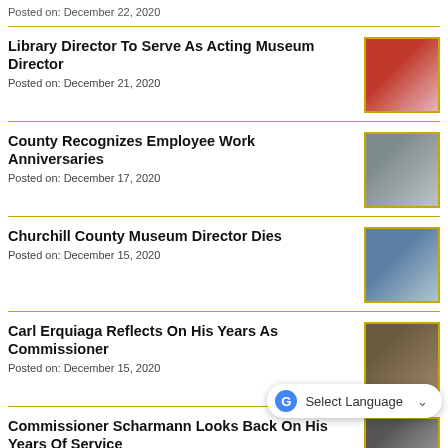Library Director To Serve As Acting Museum Director
Posted on: December 21, 2020
County Recognizes Employee Work Anniversaries
Posted on: December 17, 2020
Churchill County Museum Director Dies
Posted on: December 15, 2020
Carl Erquiaga Reflects On His Years As Commissioner
Posted on: December 15, 2020
Commissioner Scharmann Looks Back On His Years Of Service
Posted on: December 14, 2020